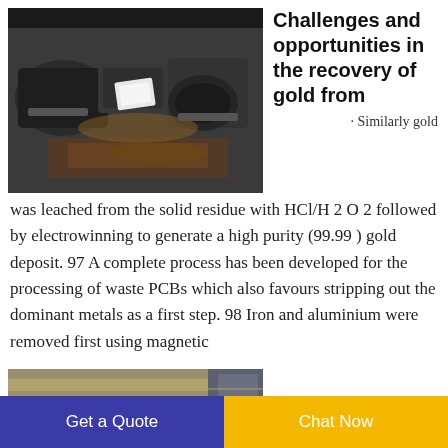[Figure (photo): Industrial machinery photo showing what appears to be metal processing or PCB recycling equipment with dark metallic components]
Challenges and opportunities in the recovery of gold from
· Similarly gold was leached from the solid residue with HCl/H 2 O 2 followed by electrowinning to generate a high purity (99.99 ) gold deposit. 97 A complete process has been developed for the processing of waste PCBs which also favours stripping out the dominant metals as a first step. 98 Iron and aluminium were removed first using magnetic
[Figure (photo): Industrial facility or laboratory equipment, partially visible at bottom of page]
Journal of
Get a Quote
Chat Now